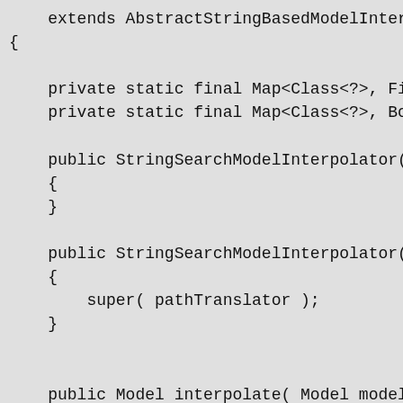extends AbstractStringBasedModelInterpo
{

    private static final Map<Class<?>, Fie
    private static final Map<Class<?>, Boo

    public StringSearchModelInterpolator()
    {
    }

    public StringSearchModelInterpolator(
    {
        super( pathTranslator );
    }


    public Model interpolate( Model model,
        throws ModelInterpolationException